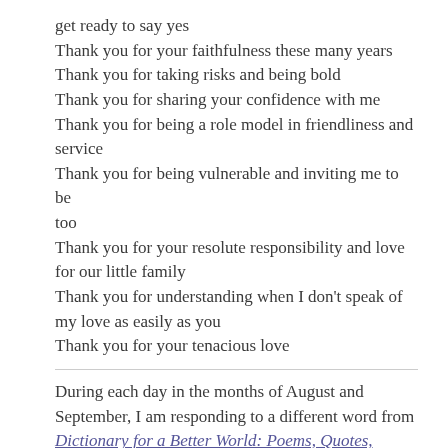get ready to say yes
Thank you for your faithfulness these many years
Thank you for taking risks and being bold
Thank you for sharing your confidence with me
Thank you for being a role model in friendliness and service
Thank you for being vulnerable and inviting me to be too
Thank you for your resolute responsibility and love for our little family
Thank you for understanding when I don't speak of my love as easily as you
Thank you for your tenacious love
During each day in the months of August and September, I am responding to a different word from Dictionary for a Better World: Poems, Quotes,